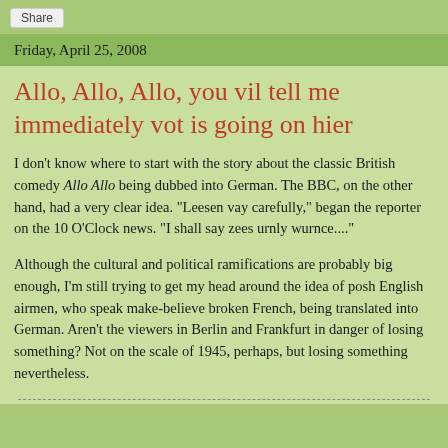Share
Friday, April 25, 2008
Allo, Allo, Allo, you vil tell me immediately vot is going on hier
I don't know where to start with the story about the classic British comedy Allo Allo being dubbed into German. The BBC, on the other hand, had a very clear idea. "Leesen vay carefully," began the reporter on the 10 O'Clock news. "I shall say zees urnly wurnce...."
Although the cultural and political ramifications are probably big enough, I'm still trying to get my head around the idea of posh English airmen, who speak make-believe broken French, being translated into German. Aren't the viewers in Berlin and Frankfurt in danger of losing something? Not on the scale of 1945, perhaps, but losing something nevertheless.